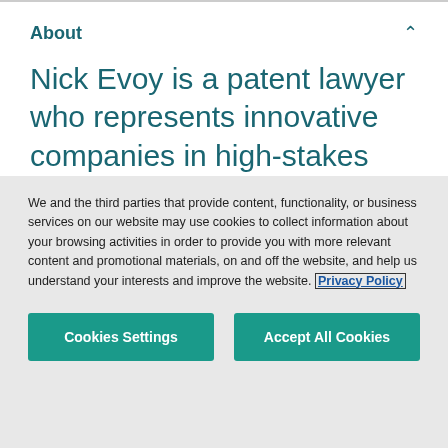About
Nick Evoy is a patent lawyer who represents innovative companies in high-stakes intellectual property disputes, trials, and appeals.
We and the third parties that provide content, functionality, or business services on our website may use cookies to collect information about your browsing activities in order to provide you with more relevant content and promotional materials, on and off the website, and help us understand your interests and improve the website. Privacy Policy
Cookies Settings
Accept All Cookies